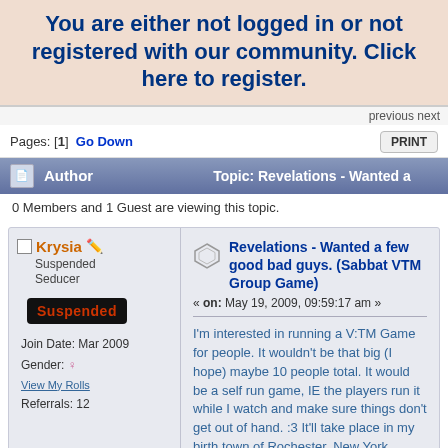You are either not logged in or not registered with our community. Click here to register.
previous next
Pages: [1]  Go Down
PRINT
Author   Topic: Revelations - Wanted a
0 Members and 1 Guest are viewing this topic.
Krysia
Suspended Seducer
Suspended
Join Date: Mar 2009
Gender:
Referrals: 12
View My Rolls
Revelations - Wanted a few good bad guys. (Sabbat VTM Group Game)
« on: May 19, 2009, 09:59:17 am »
I'm interested in running a V:TM Game for people. It wouldn't be that big (I hope) maybe 10 people total. It would be a self run game, IE the players run it while I watch and make sure things don't get out of hand. :3 It'll take place in my birth town of Rochester, New York.